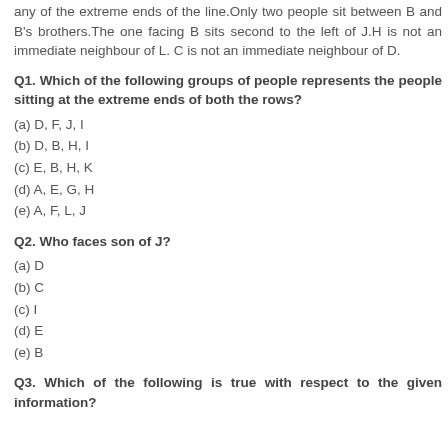any of the extreme ends of the line.Only two people sit between B and B's brothers.The one facing B sits second to the left of J.H is not an immediate neighbour of L. C is not an immediate neighbour of D.
Q1. Which of the following groups of people represents the people sitting at the extreme ends of both the rows?
(a) D, F, J, I
(b) D, B, H, I
(c) E, B, H, K
(d) A, E, G, H
(e) A, F, L, J
Q2. Who faces son of J?
(a) D
(b) C
(c) I
(d) E
(e) B
Q3. Which of the following is true with respect to the given information?